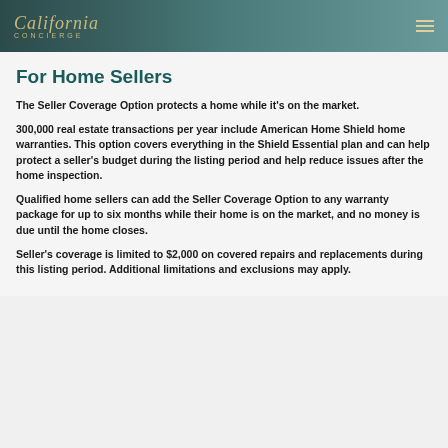[Figure (logo): California Concierge logo on dark teal background with hamburger menu icon]
For Home Sellers
The Seller Coverage Option protects a home while it’s on the market.
300,000 real estate transactions per year include American Home Shield home warranties. This option covers everything in the Shield Essential plan and can help protect a seller’s budget during the listing period and help reduce issues after the home inspection.
Qualified home sellers can add the Seller Coverage Option to any warranty package for up to six months while their home is on the market, and no money is due until the home closes.
Seller’s coverage is limited to $2,000 on covered repairs and replacements during this listing period. Additional limitations and exclusions may apply.